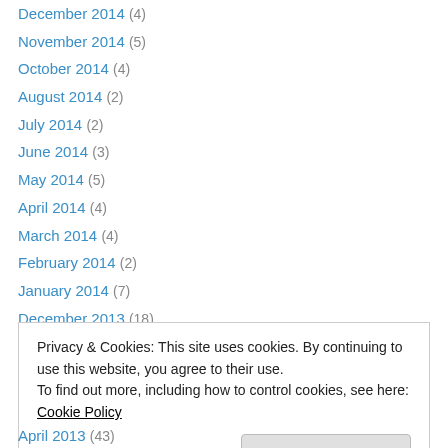December 2014 (4)
November 2014 (5)
October 2014 (4)
August 2014 (2)
July 2014 (2)
June 2014 (3)
May 2014 (5)
April 2014 (4)
March 2014 (4)
February 2014 (2)
January 2014 (7)
December 2013 (18)
November 2013 (9)
Privacy & Cookies: This site uses cookies. By continuing to use this website, you agree to their use. To find out more, including how to control cookies, see here: Cookie Policy
April 2013 (43)